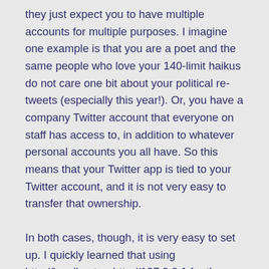they just expect you to have multiple accounts for multiple purposes. I imagine one example is that you are a poet and the same people who love your 140-limit haikus do not care one bit about your political re-tweets (especially this year!). Or, you have a company Twitter account that everyone on staff has access to, in addition to whatever personal accounts you all have. So this means that your Twitter app is tied to your Twitter account, and it is not very easy to transfer that ownership.
In both cases, though, it is very easy to set up. I quickly learned that using http://localhost or http://127.0.0.1 for the URL settings works while your app is under development.  The Omniauth